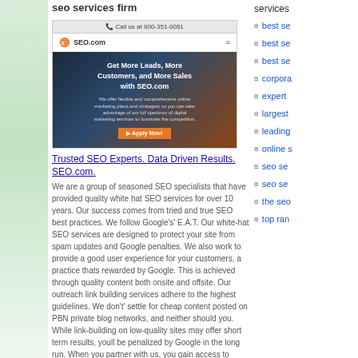seo services firm
[Figure (screenshot): Screenshot of SEO.com website showing 'Get More Leads, More Customers, and More Sales with SEO.com' hero section with call us phone number bar and navigation]
Trusted SEO Experts. Data Driven Results. SEO.com.
We are a group of seasoned SEO specialists that have provided quality white hat SEO services for over 10 years. Our success comes from tried and true SEO best practices. We follow Google's' E.A.T. Our white-hat SEO services are designed to protect your site from spam updates and Google penalties. We also work to provide a good user experience for your customers, a practice thats rewarded by Google. This is achieved through quality content both onsite and offsite. Our outreach link building services adhere to the highest guidelines. We don't' settle for cheap content posted on PBN private blog networks, and neither should you. While link-building on low-quality sites may offer short term results, youll be penalized by Google in the long run. When you partner with us, you gain access to decades
services
best se...
best se...
best se...
corpora...
expert ...
largest ...
leading...
online s...
seo se...
seo se...
the seo...
top ran...